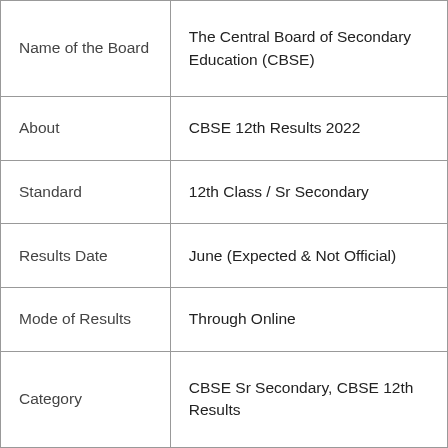|  |  |
| --- | --- |
| Name of the Board | The Central Board of Secondary Education (CBSE) |
| About | CBSE 12th Results 2022 |
| Standard | 12th Class / Sr Secondary |
| Results Date | June (Expected & Not Official) |
| Mode of Results | Through Online |
| Category | CBSE Sr Secondary, CBSE 12th Results |